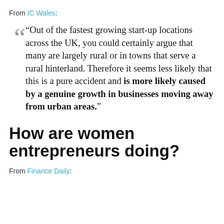From IC Wales:
“Out of the fastest growing start-up locations across the UK, you could certainly argue that many are largely rural or in towns that serve a rural hinterland. Therefore it seems less likely that this is a pure accident and is more likely caused by a genuine growth in businesses moving away from urban areas.”
How are women entrepreneurs doing?
From Finance Daily: